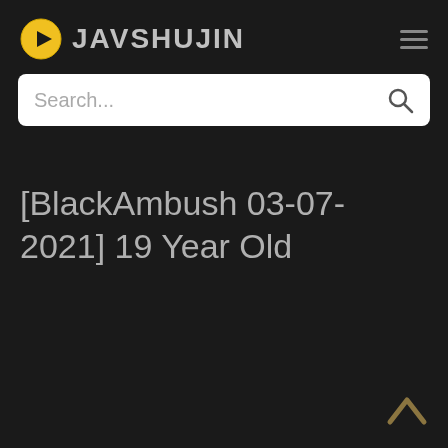JAVSHUJIN
[BlackAmbush 03-07-2021] 19 Year Old